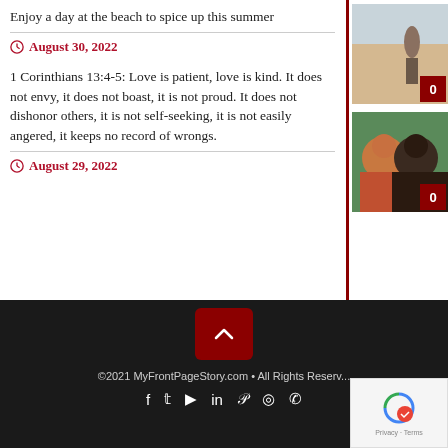Enjoy a day at the beach to spice up this summer
August 30, 2022
[Figure (photo): Beach scene with a person standing near the water]
1 Corinthians 13:4-5: Love is patient, love is kind. It does not envy, it does not boast, it is not proud. It does not dishonor others, it is not self-seeking, it is not easily angered, it keeps no record of wrongs.
August 29, 2022
[Figure (photo): Two people smiling together outdoors]
©2021 MyFrontPageStory.com • All Rights Reserved